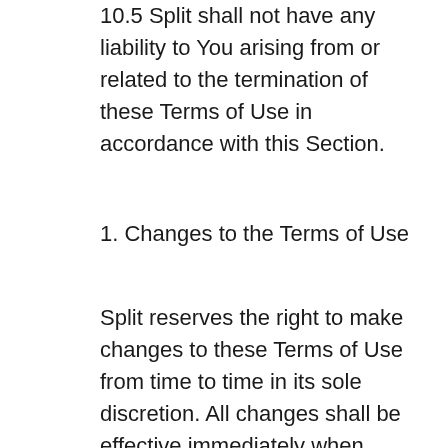10.5 Split shall not have any liability to You arising from or related to the termination of these Terms of Use in accordance with this Section.
1. Changes to the Terms of Use
Split reserves the right to make changes to these Terms of Use from time to time in its sole discretion. All changes shall be effective immediately when posted and shall apply to all access and use of the Site, Application, Software, Materials, Documents and Services, as may be applicable. Split will provide You with reasonable notice of the change by e-